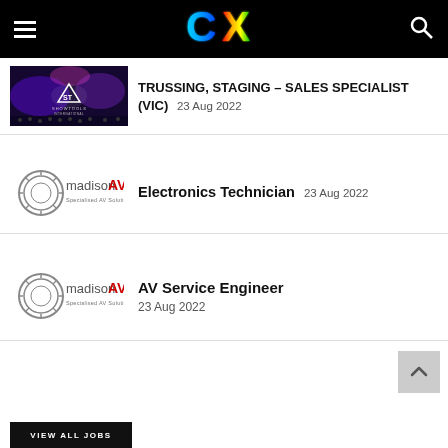CX
[Figure (photo): Showtools International concert/event photo with purple and blue stage lighting]
TRUSSING, STAGING – SALES SPECIALIST (VIC)
23 Aug 2022
[Figure (logo): madison AV – Specialised AV Solutions logo]
Electronics Technician
23 Aug 2022
[Figure (logo): madison AV – Specialised AV Solutions logo]
AV Service Engineer
23 Aug 2022
VIEW ALL JOBS